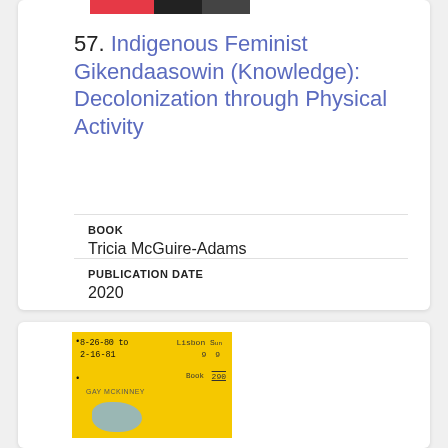[Figure (photo): Top portion of a book cover visible at top of first card]
57. Indigenous Feminist Gikendaasowin (Knowledge): Decolonization through Physical Activity
BOOK
Tricia McGuire-Adams
PUBLICATION DATE
2020
[Figure (photo): Yellow book cover with handwritten notes, dates 8-26-80 to 2-16-81, Lisbon, bullet points, author Gay McKinney]